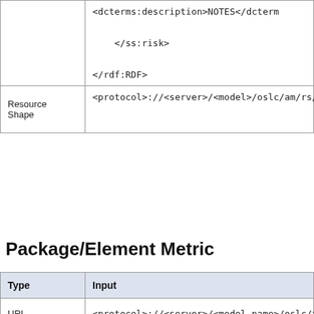| Type | Input |
| --- | --- |
|  | <dcterms:description>NOTES</dcterms:description>

    </ss:risk>

</rdf:RDF> |
| Resource Shape | <protocol>://<server>/<model>/oslc/am/rs/ris... |
Package/Element Metric
| Type | Input |
| --- | --- |
| URL | <protocol>://<server>/<model_name>/oslc/a... |
| POST | <?xml version="1.0" encoding="UTF-8"?> |